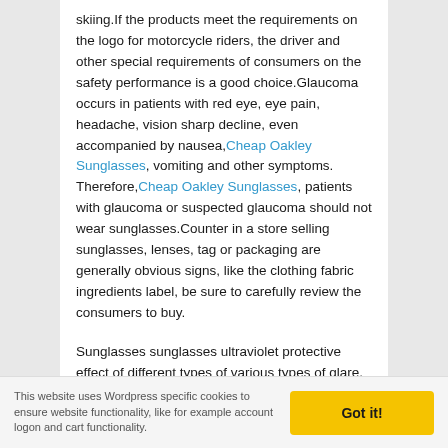skiing.If the products meet the requirements on the logo for motorcycle riders, the driver and other special requirements of consumers on the safety performance is a good choice.Glaucoma occurs in patients with red eye, eye pain, headache, vision sharp decline, even accompanied by nausea, Cheap Oakley Sunglasses, vomiting and other symptoms. Therefore, Cheap Oakley Sunglasses, patients with glaucoma or suspected glaucoma should not wear sunglasses.Counter in a store selling sunglasses, lenses, tag or packaging are generally obvious signs, like the clothing fabric ingredients label, be sure to carefully review the consumers to buy.
Sunglasses sunglasses ultraviolet protective effect of different types of various types of glare, the glare is not the same.The glass lenses drawback is easily broken, broken easily harm your eyes. Developed a new tempered glass lenses, performance than ordinary glass
This website uses Wordpress specific cookies to ensure website functionality, like for example account logon and cart functionality.